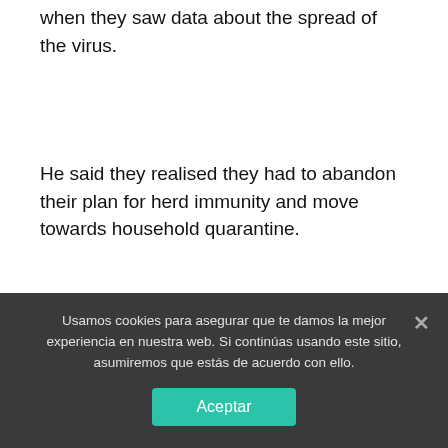when they saw data about the spread of the virus.
He said they realised they had to abandon their plan for herd immunity and move towards household quarantine.
The former adviser said he was texted by a senior government official that «There is no plan, we're in huge trouble. I think we are absolutely f*****. I think this country was heading for a disaster, I think we're going to kill
Usamos cookies para asegurar que te damos la mejor experiencia en nuestra web. Si continúas usando este sitio, asumiremos que estás de acuerdo con ello.
Aceptar